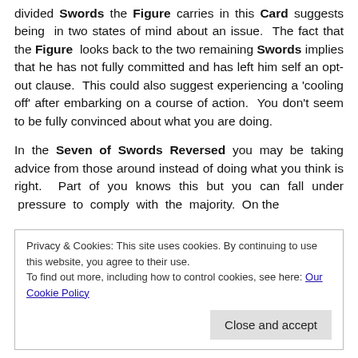divided Swords the Figure carries in this Card suggests being in two states of mind about an issue. The fact that the Figure looks back to the two remaining Swords implies that he has not fully committed and has left him self an opt-out clause. This could also suggest experiencing a 'cooling off' after embarking on a course of action. You don't seem to be fully convinced about what you are doing.
In the Seven of Swords Reversed you may be taking advice from those around instead of doing what you think is right. Part of you knows this but you can fall under pressure to comply with the majority. On the
Privacy & Cookies: This site uses cookies. By continuing to use this website, you agree to their use.
To find out more, including how to control cookies, see here: Our Cookie Policy